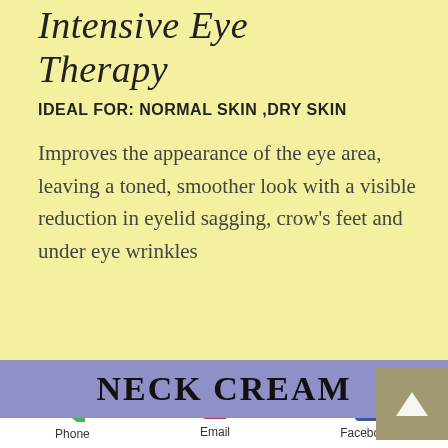Intensive Eye Therapy
IDEAL FOR: NORMAL SKIN ,DRY SKIN
Improves the appearance of the eye area, leaving a toned, smoother look with a visible reduction in eyelid sagging, crow's feet and under eye wrinkles
NECK CREAM
Phone  Email  Facebook